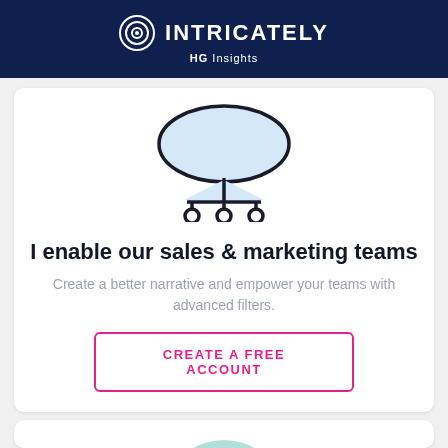INTRICATELY HG Insights
[Figure (illustration): Cloud computing network diagram icon with light blue cloud shape and three connected nodes below, outlined in dark navy.]
I enable our sales & marketing teams
Create a better narrative and empower your teams with advanced filters.
CREATE A FREE ACCOUNT
[Figure (illustration): Teal circular background with concentric circles icon (Intricately logo style), partially visible at bottom of page.]